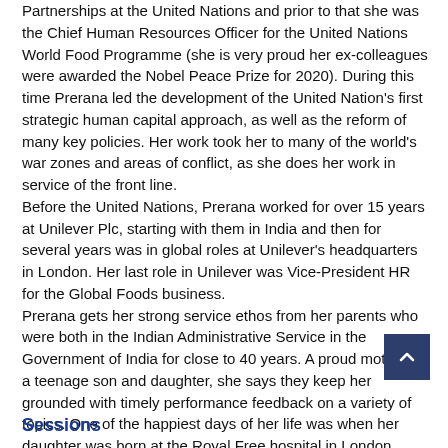Partnerships at the United Nations and prior to that she was the Chief Human Resources Officer for the United Nations World Food Programme (she is very proud her ex-colleagues were awarded the Nobel Peace Prize for 2020). During this time Prerana led the development of the United Nation's first strategic human capital approach, as well as the reform of many key policies. Her work took her to many of the world's war zones and areas of conflict, as she does her work in service of the front line.
Before the United Nations, Prerana worked for over 15 years at Unilever Plc, starting with them in India and then for several years was in global roles at Unilever's headquarters in London. Her last role in Unilever was Vice-President HR for the Global Foods business.
Prerana gets her strong service ethos from her parents who were both in the Indian Administrative Service in the Government of India for close to 40 years. A proud mother to a teenage son and daughter, she says they keep her grounded with timely performance feedback on a variety of topics. One of the happiest days of her life was when her daughter was born at the Royal Free hospital in London, giving her first-hand experience of the NHS staff who every day deliver outstanding care to patients.
Sessions